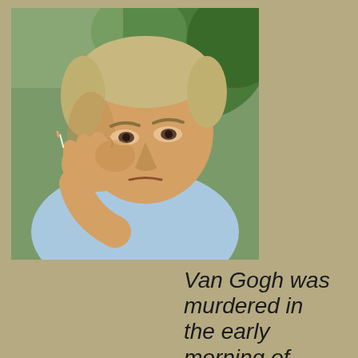[Figure (photo): Portrait photo of a middle-aged man in a light blue jacket, resting his head on his hand, holding a cigarette, with a contemplative expression. Greenery visible in the background.]
Van Gogh was murdered in the early morning of Tuesday November 2, 2004, in Amsterdam in front